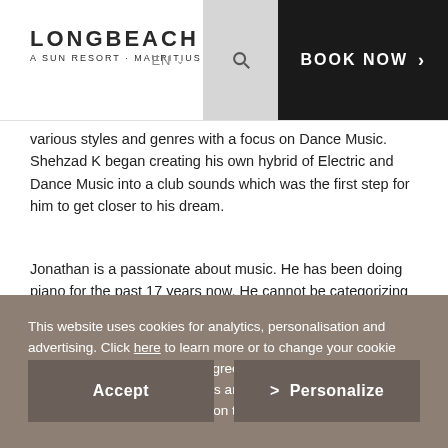LONGBEACH · A SUN RESORT · MAURITIUS
various styles and genres with a focus on Dance Music. Shehzad K began creating his own hybrid of Electric and Dance Music into a club sounds which was the first step for him to get closer to his dream.
Jonathan is a passionate about music. He has been doing piano for the past 17 years now. He cannot be categorizing in any music style as Jonathan
This website uses cookies for analytics, personalisation and advertising. Click here to learn more or to change your cookie settings. Click “Accept” if you agree to our use of cookies. You can change your cookie settings anytime by accessing our Cookie Policy page by clicking on the link in the website’s footer.
Accept
> Personalize